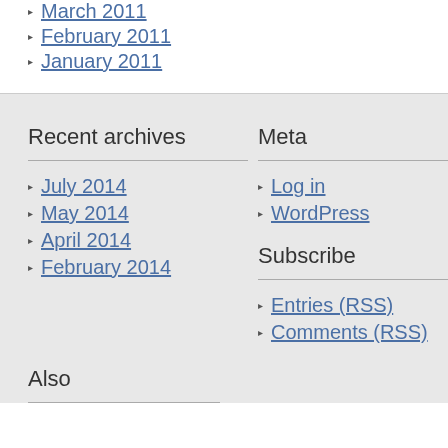March 2011
February 2011
January 2011
Recent archives
July 2014
May 2014
April 2014
February 2014
Meta
Log in
WordPress
Subscribe
Entries (RSS)
Comments (RSS)
Also